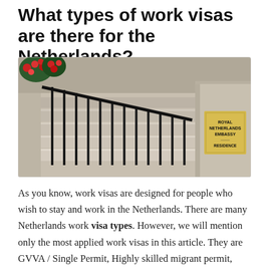What types of work visas are there for the Netherlands?
[Figure (photo): Exterior photograph of the Royal Netherlands Embassy Residence, showing stone steps with black railings, red roses visible in the upper left, and a gold/brass plaque on the stone pillar reading 'ROYAL NETHERLANDS EMBASSY RESIDENCE'.]
As you know, work visas are designed for people who wish to stay and work in the Netherlands. There are many Netherlands work visa types. However, we will mention only the most applied work visas in this article. They are GVVA / Single Permit, Highly skilled migrant permit, Orientation year permits for ex-pat graduates,